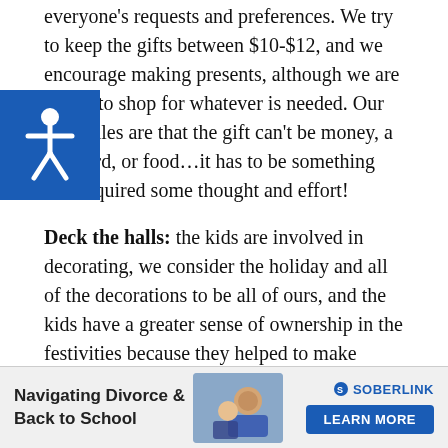everyone's requests and preferences. We try to keep the gifts between $10-$12, and we encourage making presents, although we are happy to shop for whatever is needed. Our only rules are that the gift can't be money, a gift card, or food…it has to be something that required some thought and effort!
Deck the halls: the kids are involved in decorating, we consider the holiday and all of the decorations to be all of ours, and the kids have a greater sense of ownership in the festivities because they helped to make many of the ornaments and in beautifying the home.
Keeping it fair: kids will always make comparisons and easily become competitive about how many presents each one receives. I try very hard to minimize any hard feelings conflict by keeping the quantity and value of presents
[Figure (other): Navigating Divorce & Back to School advertisement banner with Soberlink logo and Learn More button]